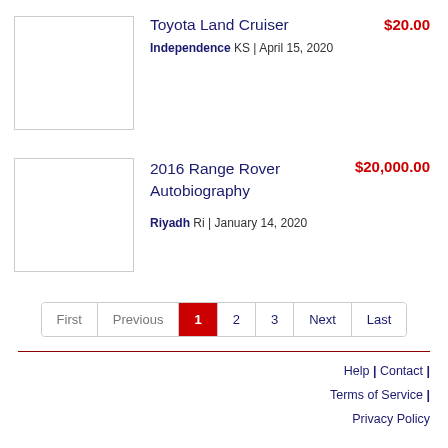[Figure (photo): Placeholder thumbnail image for Toyota Land Cruiser listing]
Toyota Land Cruiser
$20.00
Independence KS | April 15, 2020
[Figure (photo): Placeholder thumbnail image for 2016 Range Rover Autobiography listing]
2016 Range Rover Autobiography
$20,000.00
Riyadh Ri | January 14, 2020
First | Previous | 1 | 2 | 3 | Next | Last
Help | Contact | Terms of Service | Privacy Policy